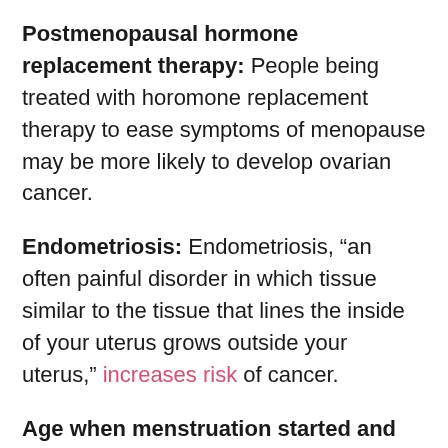Postmenopausal hormone replacement therapy: People being treated with horomone replacement therapy to ease symptoms of menopause may be more likely to develop ovarian cancer.
Endometriosis: Endometriosis, “an often painful disorder in which tissue similar to the tissue that lines the inside of your uterus grows outside your uterus,” increases risk of cancer.
Age when menstruation started and ended: Women who got their first period at a young age, or began menopause at a later age, or both, may have a higher risk of ovarian cancer.
Never having been pregnant: Women who have never